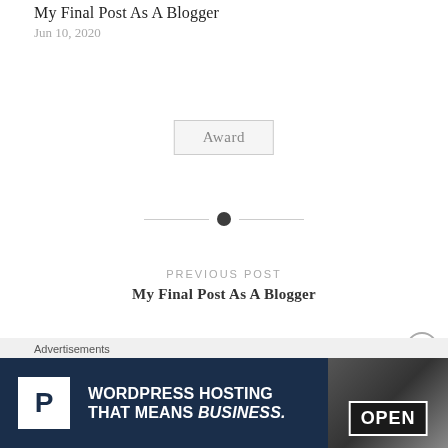My Final Post As A Blogger
Jun 10, 2020
Award
[Figure (other): Horizontal divider with a centered filled circle dot flanked by two thin lines]
PREVIOUS POST
My Final Post As A Blogger
Advertisements
[Figure (infographic): Advertisement banner for WordPress Hosting. Dark navy background with white P logo square on left, text 'WORDPRESS HOSTING THAT MEANS BUSINESS.' in bold white, and an image of an OPEN sign on the right.]